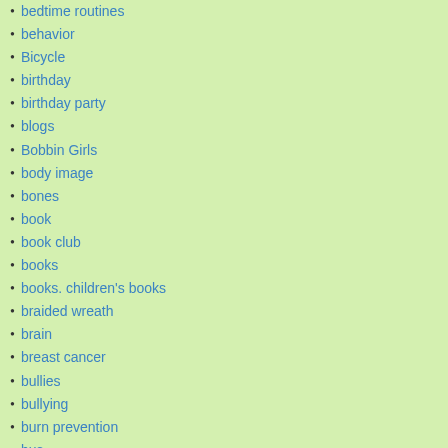bedtime routines
behavior
Bicycle
birthday
birthday party
blogs
Bobbin Girls
body image
bones
book
book club
books
books. children's books
braided wreath
brain
breast cancer
bullies
bullying
burn prevention
bus
button batteries
calories
camp
campfire safety
camping
Name (
E-Mail (
Submit Comment
« Sports Safety Guide for Parents
Pas